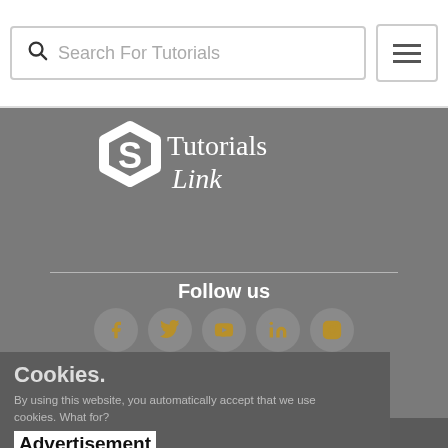Search For Tutorials
[Figure (logo): Tutorials Link logo — white hexagon/gear S icon with 'Tutorials Link' text in white handwritten font on gray background]
Follow us
[Figure (infographic): Five social media icon circles (Facebook, Twitter, YouTube, LinkedIn, Instagram) with gold icons on gray circles]
About Us  Contact Us  Privacy Policy
Become An Author
Cookies.
By using this website, you automatically accept that we use cookies. What for?
Advertisement
Understood
Copyright © 2022. All Rights Reserved.